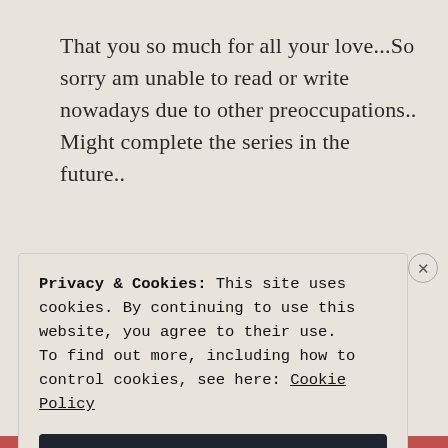That you so much for all your love...So sorry am unable to read or write nowadays due to other preoccupations.. Might complete the series in the future..
★ Liked by 1 person
REPLY
Privacy & Cookies: This site uses cookies. By continuing to use this website, you agree to their use.
To find out more, including how to control cookies, see here: Cookie Policy
Close and accept